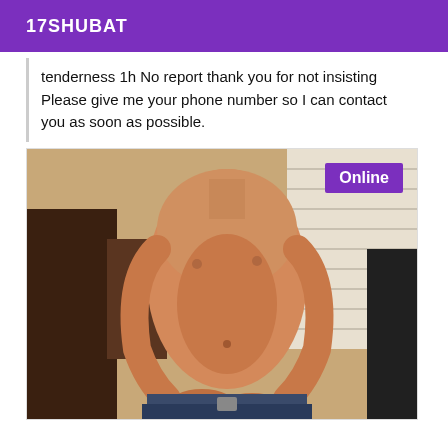17SHUBAT
tenderness 1h No report thank you for not insisting Please give me your phone number so I can contact you as soon as possible.
[Figure (photo): Shirtless male torso photo with 'Online' badge in top right corner]